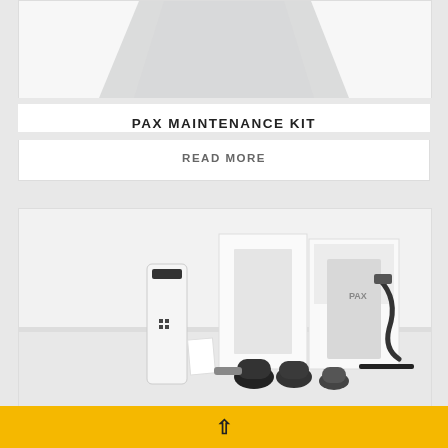[Figure (photo): Partial view of a triangular/wedge-shaped product (top portion of a PAX vaporizer or maintenance kit accessory) on white background, shown as bottom of clipped image]
PAX MAINTENANCE KIT
READ MORE
[Figure (photo): PAX vaporizer maintenance kit product photo showing a white PAX device, black accessories including mouthpieces, cleaning tools, USB charging cable, and a white PAX branded box arranged on a white surface]
^